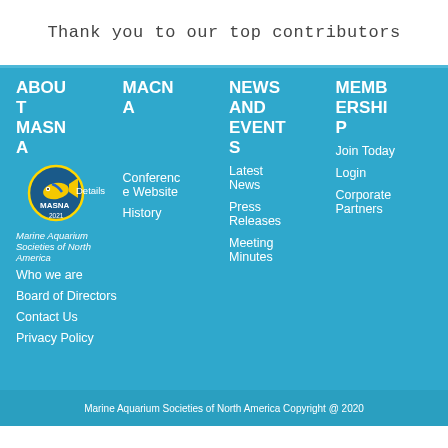Thank you to our top contributors
[Figure (logo): MASNA 2021 logo — Marine Aquarium Societies of North America circular logo with fish graphic and text]
ABOUT MASNA
Who we are
Board of Directors
Contact Us
Privacy Policy
MACNA
Details 2021
Conference Website
History
NEWS AND EVENTS
Latest News
Press Releases
Meeting Minutes
MEMBERSHIP
Join Today
Login
Corporate Partners
Marine Aquarium Societies of North America Copyright @ 2020